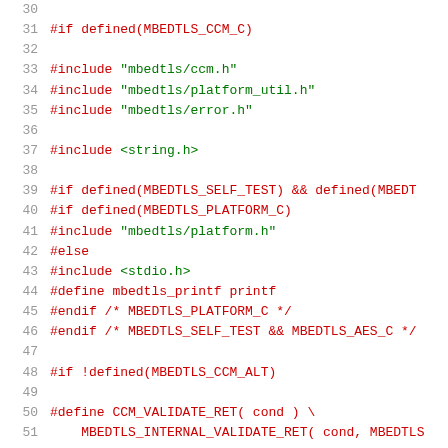30 (empty)
31 #if defined(MBEDTLS_CCM_C)
32 (empty)
33 #include "mbedtls/ccm.h"
34 #include "mbedtls/platform_util.h"
35 #include "mbedtls/error.h"
36 (empty)
37 #include <string.h>
38 (empty)
39 #if defined(MBEDTLS_SELF_TEST) && defined(MBEDT
40 #if defined(MBEDTLS_PLATFORM_C)
41 #include "mbedtls/platform.h"
42 #else
43 #include <stdio.h>
44 #define mbedtls_printf printf
45 #endif /* MBEDTLS_PLATFORM_C */
46 #endif /* MBEDTLS_SELF_TEST && MBEDTLS_AES_C */
47 (empty)
48 #if !defined(MBEDTLS_CCM_ALT)
49 (empty)
50 #define CCM_VALIDATE_RET( cond ) \
51     MBEDTLS_INTERNAL_VALIDATE_RET( cond, MBEDTLS